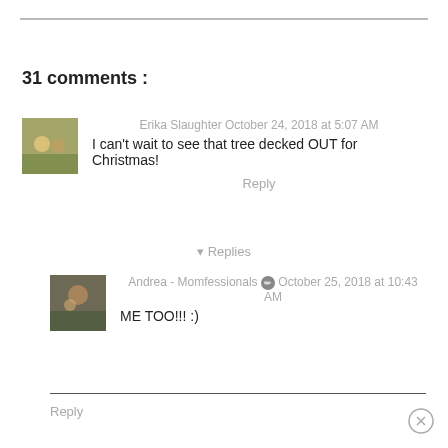31 comments :
Erika Slaughter October 24, 2018 at 5:07 AM
I can't wait to see that tree decked OUT for Christmas!
Reply
▾ Replies
Andrea - Momfessionals [badge] October 25, 2018 at 10:43 AM
ME TOO!!! :)
Reply